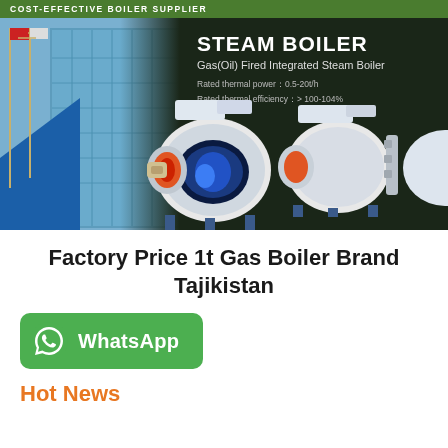COST-EFFECTIVE BOILER SUPPLIER
[Figure (photo): Steam boiler product banner showing industrial building with flags on the left and steam boiler units (Gas(Oil) Fired Integrated Steam Boiler) on a dark background. Text reads: STEAM BOILER, Gas(Oil) Fired Integrated Steam Boiler, Rated thermal power: 0.5-20t/h, Rated thermal efficiency: >100-104%]
Factory Price 1t Gas Boiler Brand Tajikistan
[Figure (logo): WhatsApp button - green rounded rectangle with WhatsApp icon and text 'WhatsApp']
Hot News